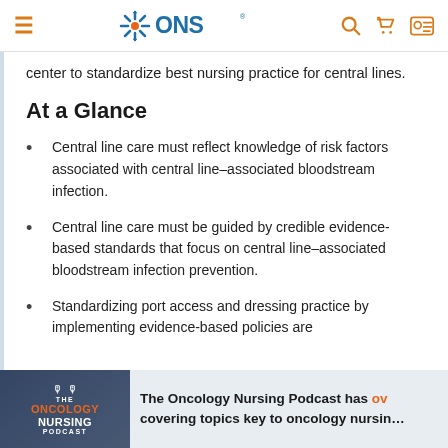ONS (Oncology Nursing Society) website header with hamburger menu, ONS logo, search icon, cart icon, and account icon
center to standardize best nursing practice for central lines.
At a Glance
Central line care must reflect knowledge of risk factors associated with central line–associated bloodstream infection.
Central line care must be guided by credible evidence-based standards that focus on central line–associated bloodstream infection prevention.
Standardizing port access and dressing practice by implementing evidence-based policies are
[Figure (infographic): The Oncology Nursing Podcast banner with dark navy logo box showing mic icons, ONCOLOGY in orange, NURSING in white, PODCAST text, overlaid on a hand holding a phone image. Text reads: The Oncology Nursing Podcast has ov... covering topics key to oncology nursin...]